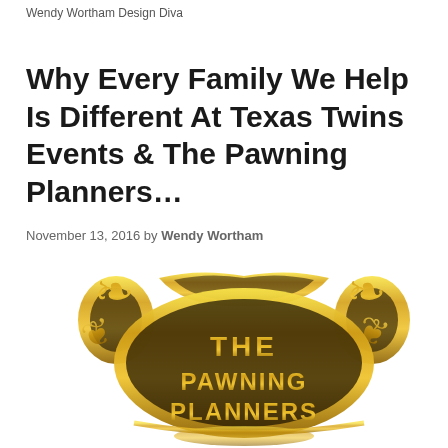Wendy Wortham Design Diva
Why Every Family We Help Is Different At Texas Twins Events & The Pawning Planners…
November 13, 2016 by Wendy Wortham
[Figure (logo): The Pawning Planners ornate gold logo with decorative scrollwork and text reading THE PAWNING PLANNERS]